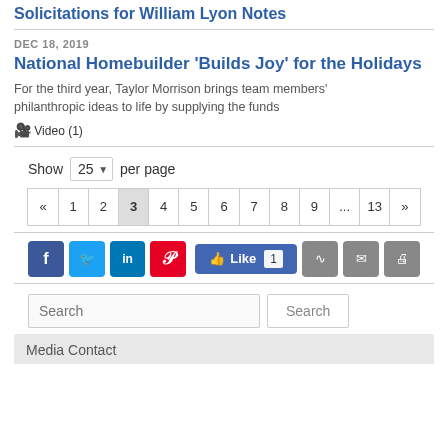Solicitations for William Lyon Notes
DEC 18, 2019
National Homebuilder 'Builds Joy' for the Holidays
For the third year, Taylor Morrison brings team members' philanthropic ideas to life by supplying the funds
Video (1)
Show 25 per page
« 1 2 3 4 5 6 7 8 9 ... 13 »
[Figure (other): Social media sharing buttons: Facebook, Twitter, LinkedIn, Pinterest, Like 1, RSS, Email, Print]
Search
Media Contact